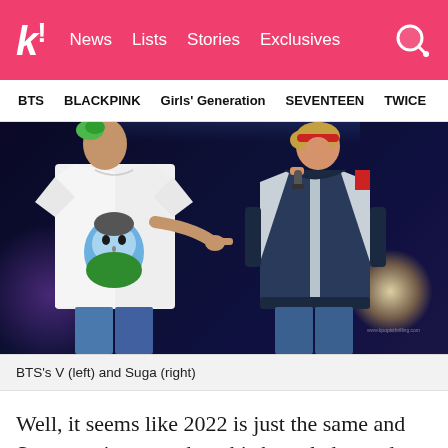k! News Lists Stories Exclusives
BTS  BLACKPINK  Girls' Generation  SEVENTEEN  TWICE
[Figure (photo): Two BTS members on stage: V (left) wearing white t-shirt with illustrated bearded face print, green hair accessories, and Suga (right) wearing silver/blue varsity jacket with red headband, holding microphone, pointing at V's shirt. Dark concert stage background with purple and yellow stage lights.]
BTS's V (left) and Suga (right)
Well, it seems like 2022 is just the same and Suga continues to share his knowledge and